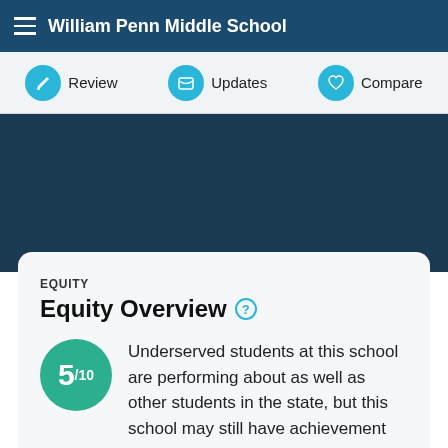William Penn Middle School
Review   Updates   Compare
EQUITY
Equity Overview
Underserved students at this school are performing about as well as other students in the state, but this school may still have achievement gaps.